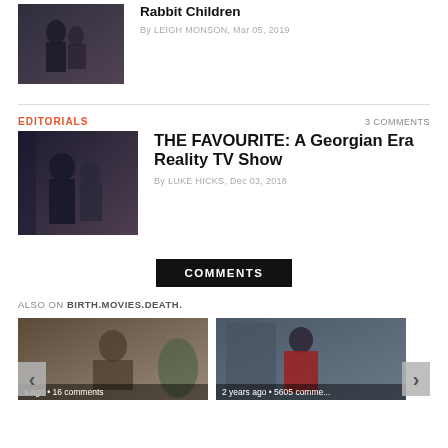[Figure (photo): Movie still showing two people, dark tones]
Rabbit Children
By LEIGH MONSON, Mar 05, 2019
EDITORIALS
3 COMMENTS
[Figure (photo): Movie still from The Favourite showing two people in dark setting]
THE FAVOURITE: A Georgian Era Reality TV Show
By LUKE HICKS, Dec 03, 2018
COMMENTS
ALSO ON BIRTH.MOVIES.DEATH.
[Figure (photo): Carousel image 1: person indoors, s ago • 16 comments]
[Figure (photo): Carousel image 2: person in red coat, 2 years ago • 5605 comments]